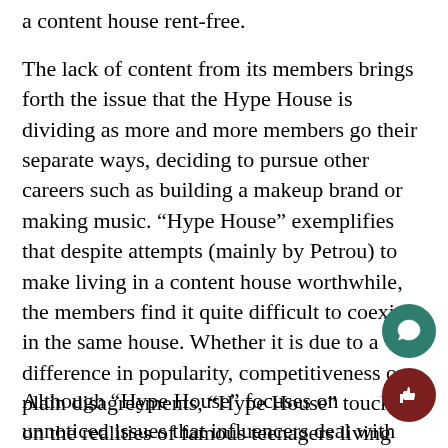a content house rent-free.
The lack of content from its members brings forth the issue that the Hype House is dividing as more and more members go their separate ways, deciding to pursue other careers such as building a makeup brand or making music. “Hype House” exemplifies that despite attempts (mainly by Petrou) to make living in a content house worthwhile, the members find it quite difficult to coexist in the same house. Whether it is due to a difference in popularity, competitiveness or plain disagreements, “Hype House” touches on the realities of famous teenagers living together.
Although “Hype House” focuses on unnoticed issues that influencers deal with and the dark reality of social media, it is hard to look past the fact that Netflix canceled highly-rated shows such